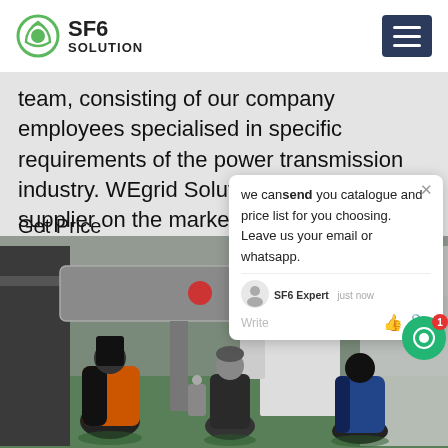SF6 SOLUTION
team, consisting of our company employees specialised in specific requirements of the power transmission industry. WEgrid Solutions is the only supplier on the market that offers a
Get Price
[Figure (photo): Three workers in winter gear inside an industrial facility with large SF6 gas handling equipment and pipework]
we can send you catalogue and price list for you choosing.
Leave us your email or whatsapp.

SF6 Expert   just now
Write